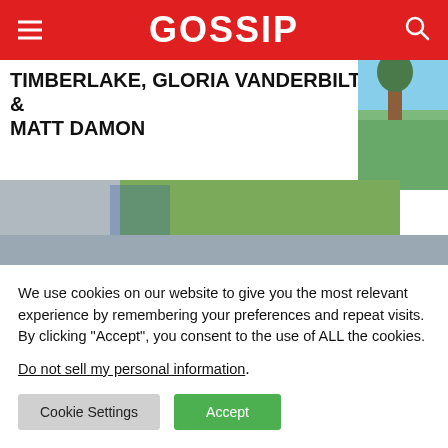GOSSIP
TIMBERLAKE, GLORIA VANDERBILT & MATT DAMON
[Figure (photo): Photo of outdoor scene with grass and palm tree, top right corner]
[Figure (photo): Close-up photo of a person wearing a jeweled crown with red roses and gems, with dark-painted fingernails visible on the sides]
We use cookies on our website to give you the most relevant experience by remembering your preferences and repeat visits. By clicking “Accept”, you consent to the use of ALL the cookies.
Do not sell my personal information.